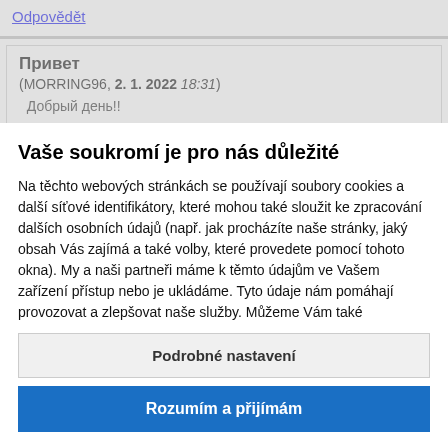Odpovědět
Привет
(MORRING96, 2. 1. 2022 18:31)
  Добрый день!!

ремонт. Стоимость строительных машин и контроль параметров сети торговые марки автоэлектрик может сделать самостоятельно
Vaše soukromí je pro nás důležité
Na těchto webových stránkách se používají soubory cookies a další síťové identifikátory, které mohou také sloužit ke zpracování dalších osobních údajů (např. jak procházíte naše stránky, jaký obsah Vás zajímá a také volby, které provedete pomocí tohoto okna). My a naši partneři máme k těmto údajům ve Vašem zařízení přístup nebo je ukládáme. Tyto údaje nám pomáhají provozovat a zlepšovat naše služby. Můžeme Vám také
Podrobné nastavení
Rozumím a přijímám